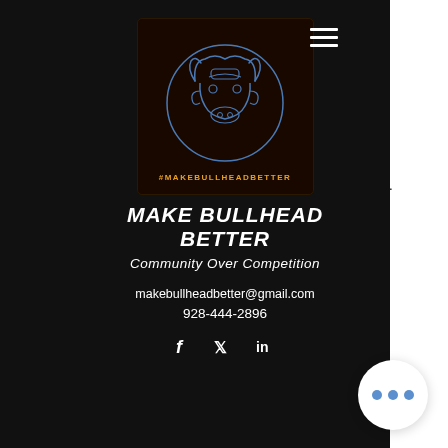[Figure (logo): Make Bullhead Better logo — bull head outline in blue on dark background, with #MAKEBULLHEADBETTER text, title MAKE BULLHEAD BETTER, tagline Community Over Competition, contact email makebullheadbetter@gmail.com, phone 928-444-2896, and social icons for Facebook, Twitter, LinkedIn]
equipment slots. You can also exploit the benefits of cash-back features and save some of your money. This would give you a total wagering requirement of $1250, rivers casino pittsburgh pa parking. If the No Deposit Bonus is throwing you off, we will use the 250% Slots Match Bonus ( GREAT250 ). Casino Bonus Codes - No Deposit Promo Codes May 2021. We provide step by step instructions on